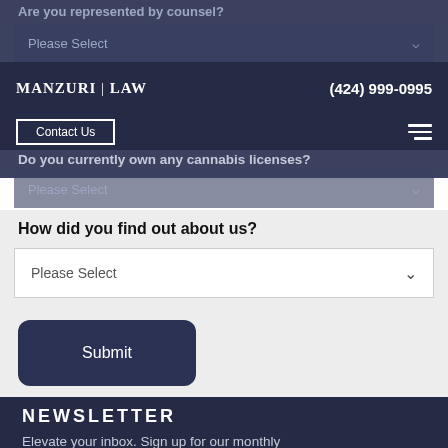[Figure (screenshot): Manzuri Law website navigation bar with logo, phone number (424) 999-0995, Contact Us button, and hamburger menu icon]
Are you represented by counsel?
Please Select
Do you currently own any cannabis licenses?
Please Select
How did you find out about us?
Please Select
Submit
NEWSLETTER
Elevate your inbox. Sign up for our monthly